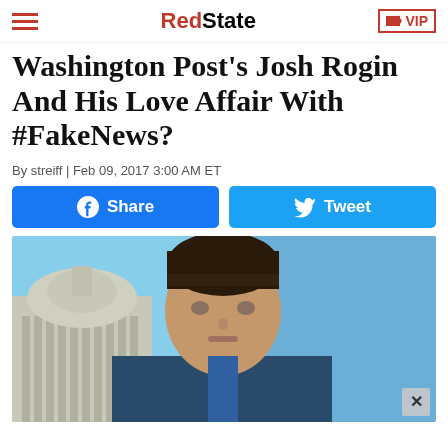RedState | VIP
Washington Post's Josh Rogin And His Love Affair With #FakeNews?
By streiff | Feb 09, 2017 3:00 AM ET
[Figure (other): Facebook Share button and Twitter Tweet button (social sharing buttons)]
[Figure (photo): A man with dark hair speaking on a TV news broadcast, with the US Capitol building visible in the background on the left, and a blue sky background.]